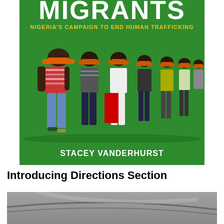[Figure (photo): Book cover of 'Migrants: Nigeria's Campaign to End Human Trafficking' by Stacey Vanderhurst. Green background with a group of people wearing orange caps standing in a line. Title in large white letters at top, subtitle in yellow, author name at bottom.]
Introducing Directions Section
[Figure (photo): Partial view of what appears to be a road or path, cut off at bottom of page.]